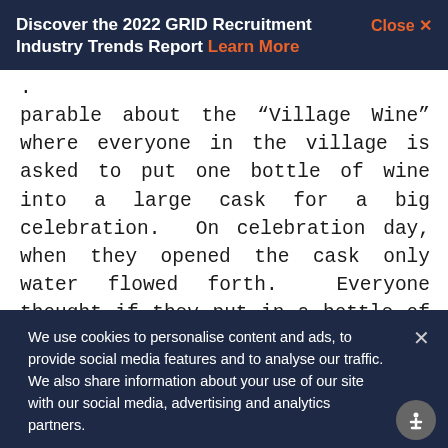Discover the 2022 GRID Recruitment Industry Trends Report Learn More
parable about the “Village Wine” where everyone in the village is asked to put one bottle of wine into a large cask for a big celebration.  On celebration day, when they opened the cask only water flowed forth.  Everyone thought if they put in a bottle of water rather than wine it would go unnoticed. The takeaway here is that everyone needs to participate in the accurate profiling of candidates, including you.  The minimal effort of doing so will pay you and all other members of your organization huge benefits down the
We use cookies to personalise content and ads, to provide social media features and to analyse our traffic. We also share information about your use of our site with our social media, advertising and analytics partners.